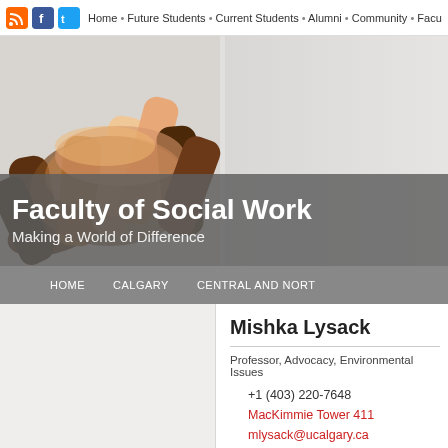Home • Future Students • Current Students • Alumni • Community • Faculty & Sta
[Figure (photo): Multiple hands of different skin tones stacked together, representing diversity and community, used as hero banner image for Faculty of Social Work website]
Faculty of Social Work
Making a World of Difference
HOME   CALGARY   CENTRAL AND NORT
Mishka Lysack
Professor, Advocacy, Environmental Issues
+1 (403) 220-7648
MacKimmie Tower 411
mlysack@ucalgary.ca